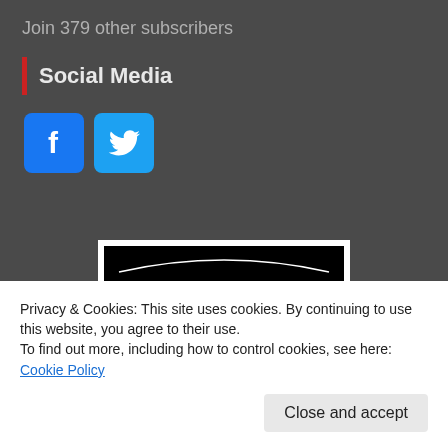Join 379 other subscribers
Social Media
[Figure (illustration): Facebook and Twitter social media icon buttons (blue rounded squares with white F and bird logos)]
[Figure (logo): Badge/shield logo reading: Proud member of THE INTERNET — black badge with white text and stars, white border]
Privacy & Cookies: This site uses cookies. By continuing to use this website, you agree to their use.
To find out more, including how to control cookies, see here: Cookie Policy